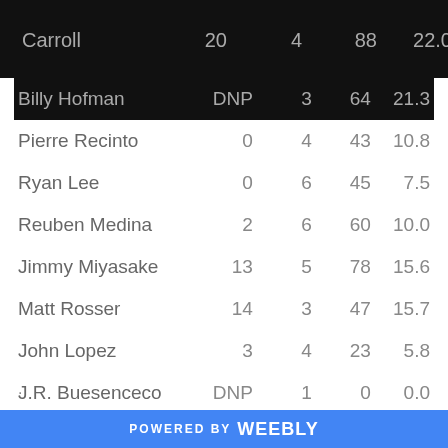Carroll  20  4  88  22.0
| Player | Col1 | Col2 | Col3 | Col4 |
| --- | --- | --- | --- | --- |
| Billy Hofman | DNP | 3 | 64 | 21.3 |
| Pierre Recinto | 0 | 4 | 43 | 10.8 |
| Ryan Lee | 0 | 6 | 45 | 7.5 |
| Reuben Medina | 2 | 6 | 60 | 10.0 |
| Jimmy Miyasake | 13 | 5 | 78 | 15.6 |
| Matt Rosser | 14 | 3 | 47 | 15.7 |
| John Lopez | 3 | 4 | 23 | 5.8 |
| J.R. Buesenceco | DNP | 1 | 0 | 0.0 |
.
POWERED BY weebly